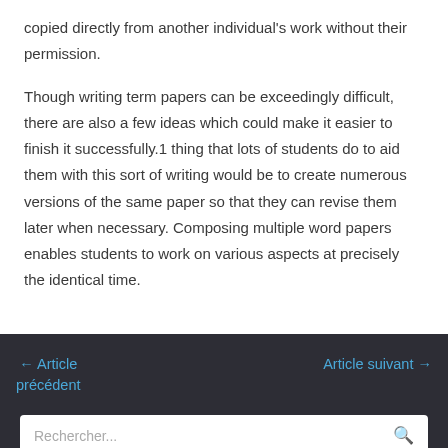copied directly from another individual's work without their permission.
Though writing term papers can be exceedingly difficult, there are also a few ideas which could make it easier to finish it successfully.1 thing that lots of students do to aid them with this sort of writing would be to create numerous versions of the same paper so that they can revise them later when necessary. Composing multiple word papers enables students to work on various aspects at precisely the identical time.
← Article précédent    Article suivant →
Rechercher...